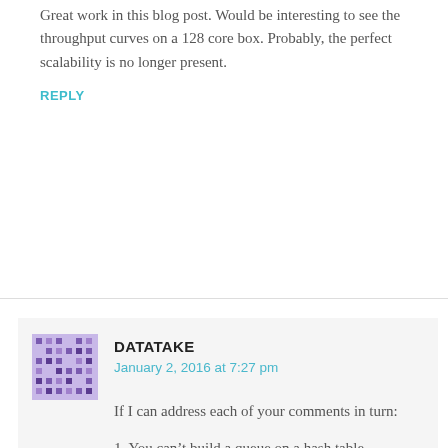Great work in this blog post. Would be interesting to see the throughput curves on a 128 core box. Probably, the perfect scalability is no longer present.
REPLY
DATATAKE
January 2, 2016 at 7:27 pm
If I can address each of your comments in turn:
1. You can't build a queue on a hash table.
If you were building your own hash table and if your choice of hashing algorithm was a poor one, this would cause problems. However, if we are talking about getting the